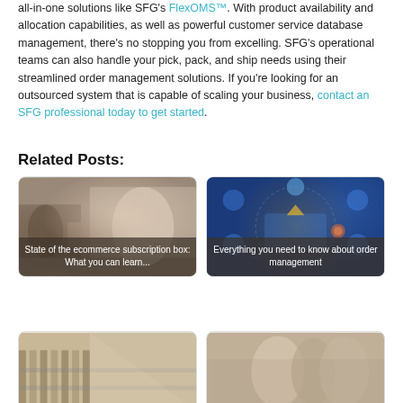all-in-one solutions like SFG's FlexOMS™. With product availability and allocation capabilities, as well as powerful customer service database management, there's no stopping you from excelling. SFG's operational teams can also handle your pick, pack, and ship needs using their streamlined order management solutions. If you're looking for an outsourced system that is capable of scaling your business, contact an SFG professional today to get started.
Related Posts:
[Figure (photo): Two men near a delivery van, one carrying a box, overlaid with text caption 'State of the ecommerce subscription box: What you can learn...']
[Figure (photo): Dark blue background with ecommerce icons and a tablet graphic, overlaid with text caption 'Everything you need to know about order management']
[Figure (photo): Warehouse shelving aisle]
[Figure (photo): Team of business people in warehouse]